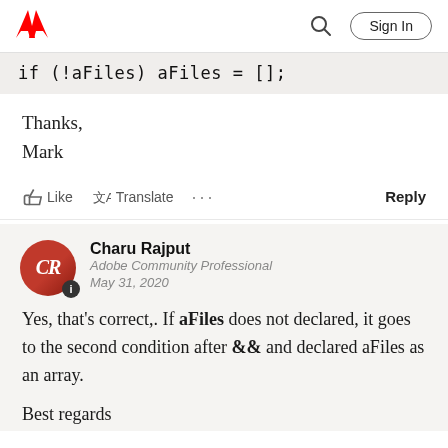Adobe | Search | Sign In
Thanks,
Mark
Like  Translate  ...  Reply
Charu Rajput
Adobe Community Professional
May 31, 2020
Yes, that's correct,. If aFiles does not declared, it goes to the second condition after && and declared aFiles as an array.
Best regards